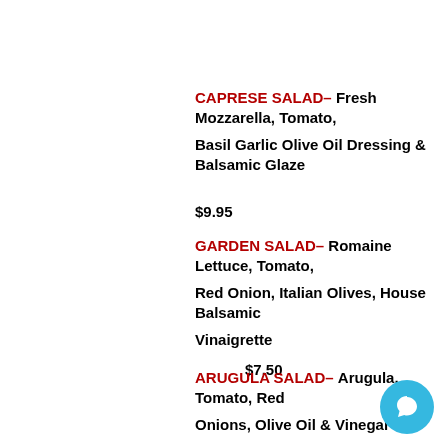CAPRESE SALAD – Fresh Mozzarella, Tomato, Basil Garlic Olive Oil Dressing & Balsamic Glaze
$9.95
GARDEN SALAD – Romaine Lettuce, Tomato, Red Onion, Italian Olives, House Balsamic Vinaigrette
$7.50
ARUGULA SALAD – Arugula, Tomato, Red Onions, Olive Oil & Vinegar